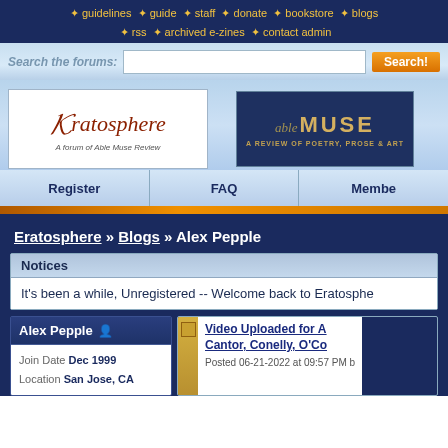* guidelines * guide * staff * donate * bookstore * blogs * rss * archived e-zines * contact admin
[Figure (screenshot): Search bar with text input and orange Search! button]
[Figure (logo): Eratosphere logo - A forum of Able Muse Review]
[Figure (logo): Able Muse - A Review of Poetry, Prose & Art logo]
Register | FAQ | Members
Eratosphere » Blogs » Alex Pepple
Notices
It's been a while, Unregistered -- Welcome back to Eratosphere
Alex Pepple
Join Date Dec 1999
Location San Jose, CA
Video Uploaded for A... Cantor, Conelly, O'Co...
Posted 06-21-2022 at 09:57 PM b